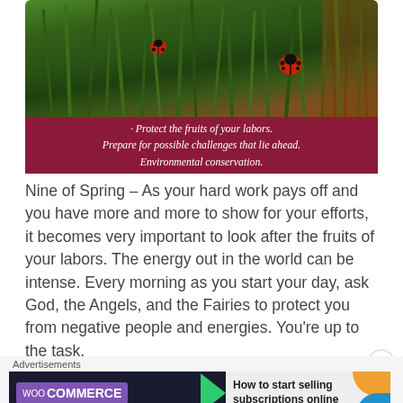[Figure (photo): A card image showing ladybugs among green grass blades on the top portion, with a dark magenta/crimson banner below containing italic white text: 'Protect the fruits of your labors. Prepare for possible challenges that lie ahead. Environmental conservation.']
Nine of Spring – As your hard work pays off and you have more and more to show for your efforts, it becomes very important to look after the fruits of your labors. The energy out in the world can be intense. Every morning as you start your day, ask God, the Angels, and the Fairies to protect you from negative people and energies. You're up to the task,
[Figure (other): WooCommerce advertisement banner: dark background with WooCommerce purple logo badge, green arrow shape, and text 'How to start selling subscriptions online' on a light background with orange leaf shape]